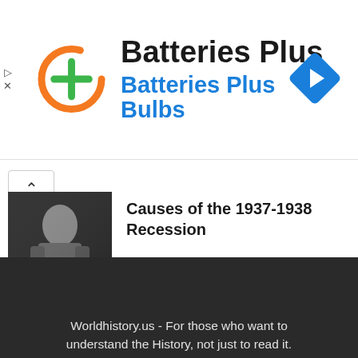[Figure (infographic): Batteries Plus advertisement banner with orange circular logo with green plus sign, company name 'Batteries Plus' and subtitle 'Batteries Plus Bulbs' in blue, and a blue diamond navigation arrow icon on the right]
[Figure (photo): Black and white historical photo of a person, with 'American History' label overlay at bottom]
Causes of the 1937-1938 Recession
Worldhistory.us - For those who want to understand the History, not just to read it.